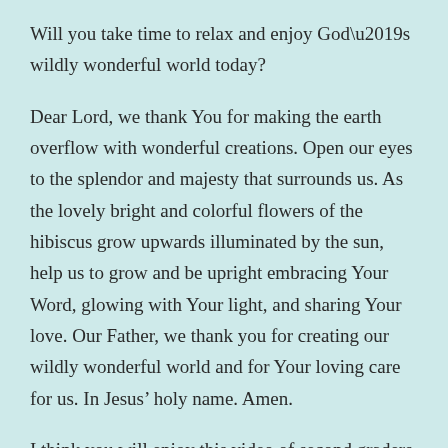Will you take time to relax and enjoy God’s wildly wonderful world today?
Dear Lord, we thank You for making the earth overflow with wonderful creations. Open our eyes to the splendor and majesty that surrounds us. As the lovely bright and colorful flowers of the hibiscus grow upwards illuminated by the sun, help us to grow and be upright embracing Your Word, glowing with Your light, and sharing Your love. Our Father, we thank you for creating our wildly wonderful world and for Your loving care for us. In Jesus’ holy name. Amen.
I think you will enjoy this video of second graders (a virtual choir) from Great Hearts Archway School singing “What a Wonderful World.”